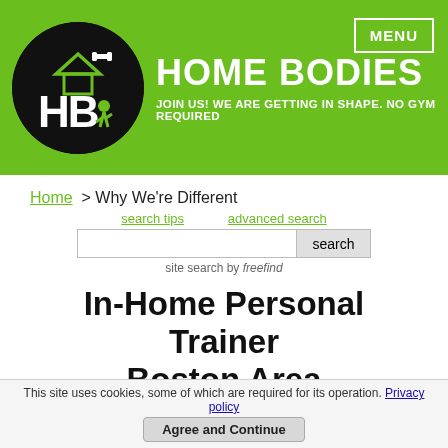HOME BODIES — JOIN US! WE ARE GETTING IN SHAPE. NO GYM REQUIRED
Home > Why We're Different
search tips   advanced search   [search box]   search   site search by freefind
In-Home Personal Trainer Boston Area
Personal Trainer Boston: Home
This site uses cookies, some of which are required for its operation. Privacy policy
Agree and Continue